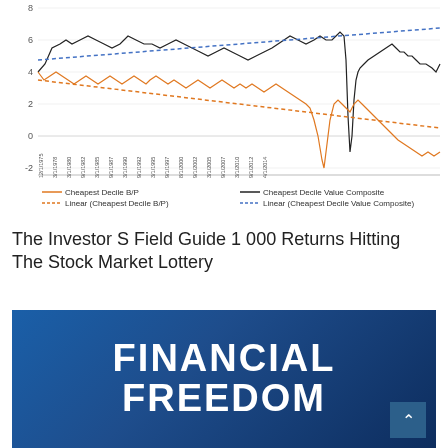[Figure (continuous-plot): Line chart showing Cheapest Decile B/P (orange line) and Cheapest Decile Value Composite (black line) over time from approximately 1975 to 2014, with linear trend lines (orange dotted declining, blue dotted rising). Y-axis ranges from -2 to 8.]
The Investor S Field Guide 1 000 Returns Hitting The Stock Market Lottery
[Figure (photo): Book cover image with dark blue background showing large white bold text 'FINANCIAL FREEDOM' with a scroll-to-top button in the lower right corner.]